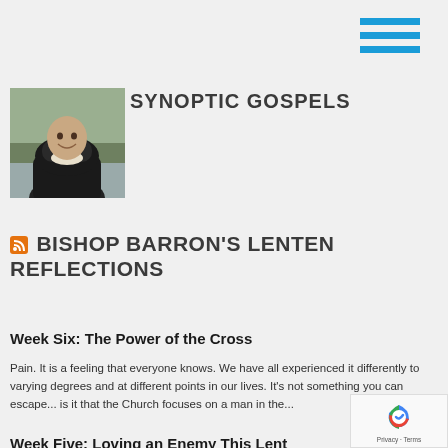[Figure (illustration): Hamburger menu icon with three blue horizontal lines in top right corner]
[Figure (photo): Photo of a person wearing a black hooded sweatshirt, smiling, outdoors]
SYNOPTIC GOSPELS
BISHOP BARRON'S LENTEN REFLECTIONS
Week Six: The Power of the Cross
Pain.  It is a feeling that everyone knows. We have all experienced it differently to varying degrees and at different points in our lives. It's not something you can escape... is it that the Church focuses on a man in the...
Week Five: Loving an Enemy This Lent